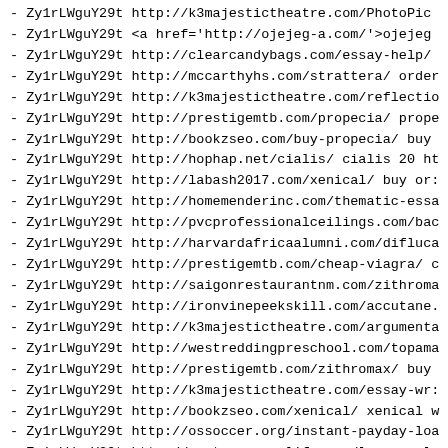- Zy1rLWguY29t http://k3majestictheatre.com/PhotoPic
- Zy1rLWguY29t <a href='http://ojejeg-a.com/'>ojejeg
- Zy1rLWguY29t http://clearcandybags.com/essay-help/
- Zy1rLWguY29t http://mccarthyhs.com/strattera/ order
- Zy1rLWguY29t http://k3majestictheatre.com/reflectio
- Zy1rLWguY29t http://prestigemtb.com/propecia/ prope
- Zy1rLWguY29t http://bookzseo.com/buy-propecia/ buy
- Zy1rLWguY29t http://hophap.net/cialis/ cialis 20 ht
- Zy1rLWguY29t http://labash2017.com/xenical/ buy or:
- Zy1rLWguY29t http://homemenderinc.com/thematic-essa
- Zy1rLWguY29t http://pvcprofessionalceilings.com/bac
- Zy1rLWguY29t http://harvardafricaalumni.com/difluca
- Zy1rLWguY29t http://prestigemtb.com/cheap-viagra/ c
- Zy1rLWguY29t http://saigonrestaurantnm.com/zithroma
- Zy1rLWguY29t http://ironvinepeekskill.com/accutane.
- Zy1rLWguY29t http://k3majestictheatre.com/argumenta
- Zy1rLWguY29t http://westreddingpreschool.com/topama
- Zy1rLWguY29t http://prestigemtb.com/zithromax/ buy
- Zy1rLWguY29t http://k3majestictheatre.com/essay-wr:
- Zy1rLWguY29t http://bookzseo.com/xenical/ xenical w
- Zy1rLWguY29t http://ossoccer.org/instant-payday-loa
- Zy1rLWguY29t http://postconsumerlife.com/loans-onl: